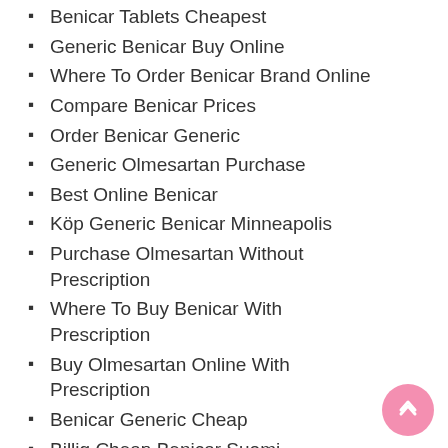Benicar Tablets Cheapest
Generic Benicar Buy Online
Where To Order Benicar Brand Online
Compare Benicar Prices
Order Benicar Generic
Generic Olmesartan Purchase
Best Online Benicar
Köp Generic Benicar Minneapolis
Purchase Olmesartan Without Prescription
Where To Buy Benicar With Prescription
Buy Olmesartan Online With Prescription
Benicar Generic Cheap
Billig Cheap Benicar Suomi
What Is The Cost Of Olmesartan
Cheapest Place Buy Benicar